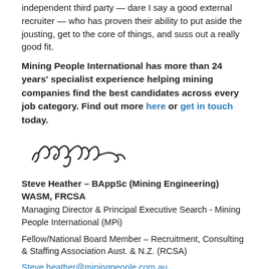independent third party — dare I say a good external recruiter — who has proven their ability to put aside the jousting, get to the core of things, and suss out a really good fit.
Mining People International has more than 24 years' specialist experience helping mining companies find the best candidates across every job category. Find out more here or get in touch today.
[Figure (illustration): Handwritten signature of Steve Heather]
Steve Heather – BAppSc (Mining Engineering) WASM, FRCSA
Managing Director & Principal Executive Search - Mining People International (MPi)
Fellow/National Board Member – Recruitment, Consulting & Staffing Association Aust. & N.Z. (RCSA)
Steve.heather@miningpeople.com.au